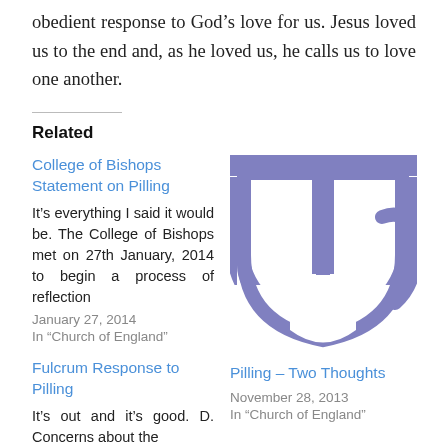obedient response to God’s love for us. Jesus loved us to the end and, as he loved us, he calls us to love one another.
Related
College of Bishops Statement on Pilling
It’s everything I said it would be. The College of Bishops met on 27th January, 2014 to begin a process of reflection
January 27, 2014
In "Church of England"
[Figure (logo): Purple/lavender stylized logo mark resembling a bowl or cup shape with a vertical line, for a church-related publication]
Pilling – Two Thoughts
November 28, 2013
In "Church of England"
Fulcrum Response to Pilling
It’s out and it’s good. D. Concerns about the